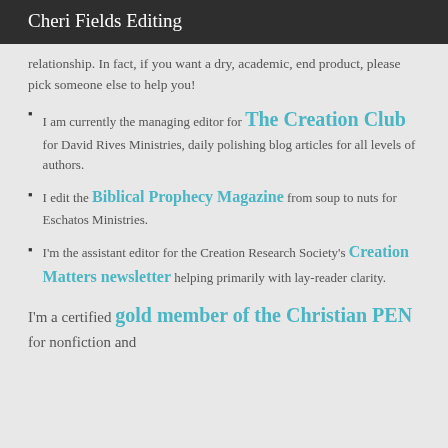Cheri Fields Editing
relationship. In fact, if you want a dry, academic, end product, please pick someone else to help you!
I am currently the managing editor for The Creation Club for David Rives Ministries, daily polishing blog articles for all levels of authors.
I edit the Biblical Prophecy Magazine from soup to nuts for Eschatos Ministries.
I'm the assistant editor for the Creation Research Society's Creation Matters newsletter helping primarily with lay-reader clarity.
I'm a certified gold member of the Christian PEN for nonfiction and